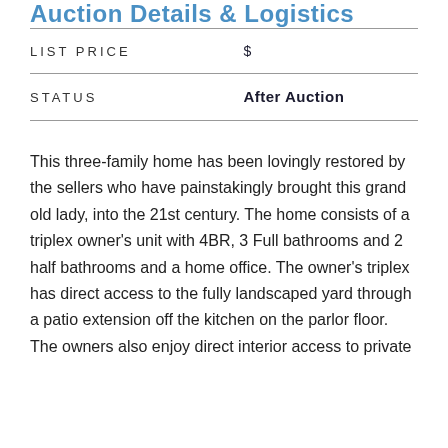Auction Details & Logistics
| Field | Value |
| --- | --- |
| LIST PRICE | $ |
| STATUS | After Auction |
This three-family home has been lovingly restored by the sellers who have painstakingly brought this grand old lady, into the 21st century. The home consists of a triplex owner's unit with 4BR, 3 Full bathrooms and 2 half bathrooms and a home office. The owner's triplex has direct access to the fully landscaped yard through a patio extension off the kitchen on the parlor floor. The owners also enjoy direct interior access to private